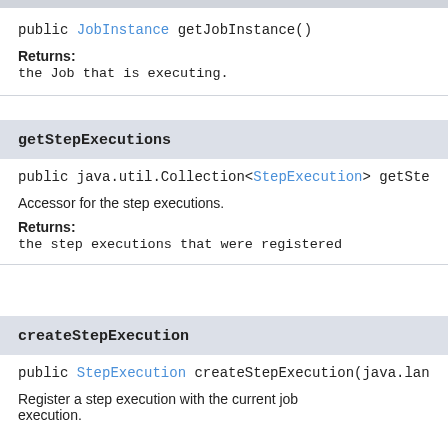public JobInstance getJobInstance()
Returns:
the Job that is executing.
getStepExecutions
public java.util.Collection<StepExecution> getSte...
Accessor for the step executions.
Returns:
the step executions that were registered
createStepExecution
public StepExecution createStepExecution(java.lan...
Register a step execution with the current job execution.